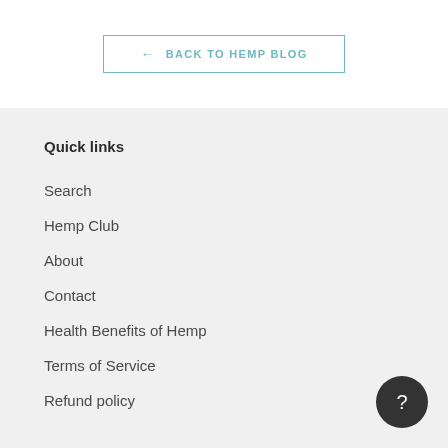← BACK TO HEMP BLOG
Quick links
Search
Hemp Club
About
Contact
Health Benefits of Hemp
Terms of Service
Refund policy